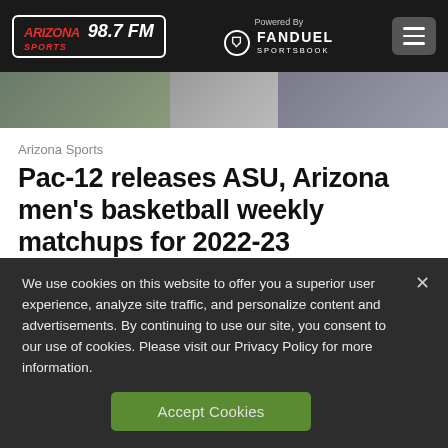Arizona Sports 98.7 FM — Powered By FanDuel Sportsbook
[Figure (photo): Cropped photo strip showing basketball-related imagery]
Arizona Sports
Pac-12 releases ASU, Arizona men's basketball weekly matchups for 2022-23
5 days ago
We use cookies on this website to offer you a superior user experience, analyze site traffic, and personalize content and advertisements. By continuing to use our site, you consent to our use of cookies. Please visit our Privacy Policy for more information.
Accept Cookies